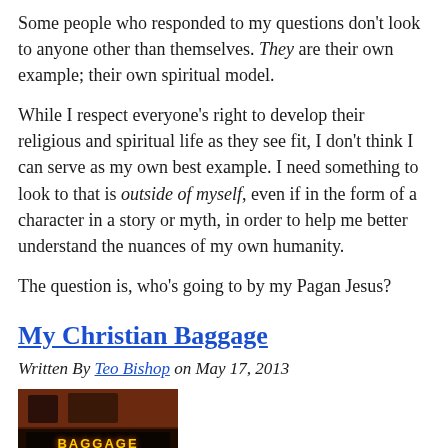Some people who responded to my questions don't look to anyone other than themselves. They are their own example; their own spiritual model.
While I respect everyone's right to develop their religious and spiritual life as they see fit, I don't think I can serve as my own best example. I need something to look to that is outside of myself, even if in the form of a character in a story or myth, in order to help me better understand the nuances of my own humanity.
The question is, who's going to by my Pagan Jesus?
My Christian Baggage
Written By Teo Bishop on May 17, 2013
[Figure (photo): A photo showing a neon sign that reads BAGGAGE]